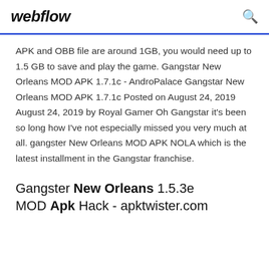webflow
APK and OBB file are around 1GB, you would need up to 1.5 GB to save and play the game. Gangstar New Orleans MOD APK 1.7.1c - AndroPalace Gangstar New Orleans MOD APK 1.7.1c Posted on August 24, 2019 August 24, 2019 by Royal Gamer Oh Gangstar it’s been so long how I’ve not especially missed you very much at all. gangster New Orleans MOD APK NOLA which is the latest installment in the Gangstar franchise.
Gangster New Orleans 1.5.3e MOD Apk Hack - apktwister.com